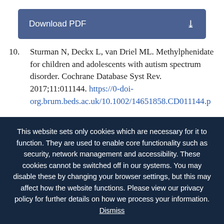[Figure (other): Download PDF button with download icon]
10. Sturman N, Deckx L, van Driel ML. Methylphenidate for children and adolescents with autism spectrum disorder. Cochrane Database Syst Rev. 2017;11:011144. https://0-doi-org.brum.beds.ac.uk/10.1002/14651858.CD011144.p
This website sets only cookies which are necessary for it to function. They are used to enable core functionality such as security, network management and accessibility. These cookies cannot be switched off in our systems. You may disable these by changing your browser settings, but this may affect how the website functions. Please view our privacy policy for further details on how we process your information. Dismiss